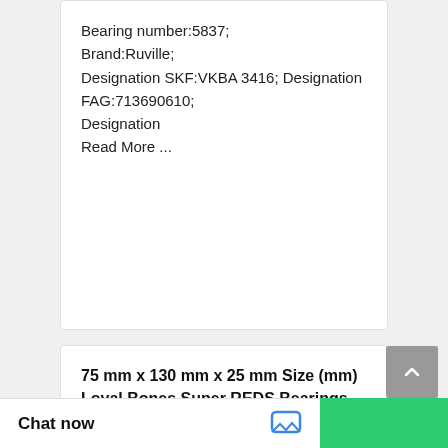Bearing number:5837; Brand:Ruville; Designation SKF:VKBA 3416; Designation FAG:713690610; Designation Read More ...
75 mm x 130 mm x 25 mm Size (mm) Loyal Bones Super REDS Bearings Skateboard Bearings
Bearing number:NF215; Size (mm):75x130x25; Brand:CRAFT; Bore